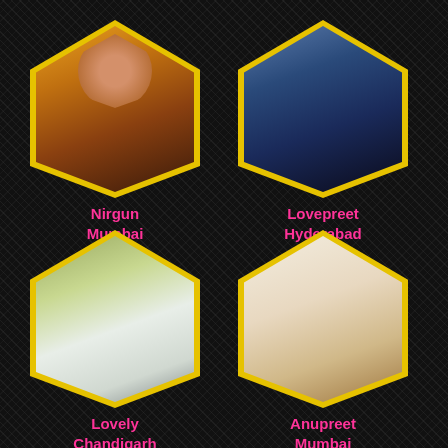[Figure (photo): Photo of Nirgun in yellow top, displayed in diamond/shield shaped frame with gold border]
Nirgun
Mumbai
[Figure (photo): Photo of Lovepreet in blue outfit, displayed in diamond/shield shaped frame with gold border]
Lovepreet
Hyderabad
[Figure (photo): Photo of Lovely in white top outdoors, displayed in diamond/shield shaped frame with gold border]
Lovely
Chandigarh
[Figure (photo): Photo of Anupreet in white outfit, displayed in diamond/shield shaped frame with gold border]
Anupreet
Mumbai